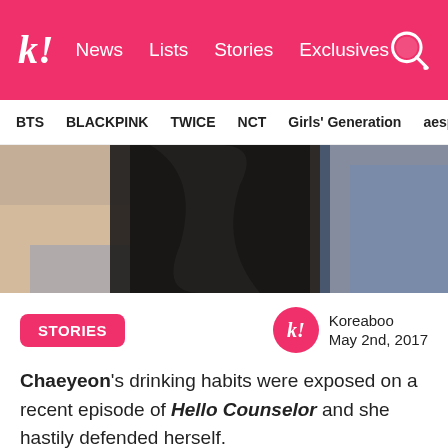k! News Lists Stories Exclusives
BTS BLACKPINK TWICE NCT Girls' Generation aespa
[Figure (photo): Blurred close-up photo showing dark hair and hands, partial face obscured]
STORIES
Koreaboo May 2nd, 2017
Chaeyeon's drinking habits were exposed on a recent episode of Hello Counselor and she hastily defended herself.
DIA's Chaeyeon and Huihyun guest starred on